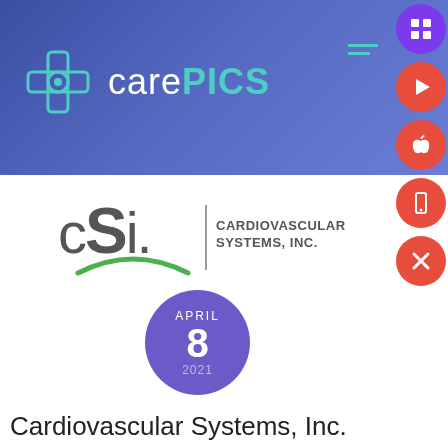[Figure (logo): CarePics logo with teal cross/camera icon and white and teal text on blue/purple gradient header background]
[Figure (logo): Cardiovascular Systems, Inc. (CSI) logo — gray stylized letters 'cSi.' with vertical divider and text 'CARDIOVASCULAR SYSTEMS, INC.' and green arc underneath]
[Figure (infographic): Purple circle date badge showing APRIL 8 2021]
Cardiovascular Systems, Inc. Announces Investment and